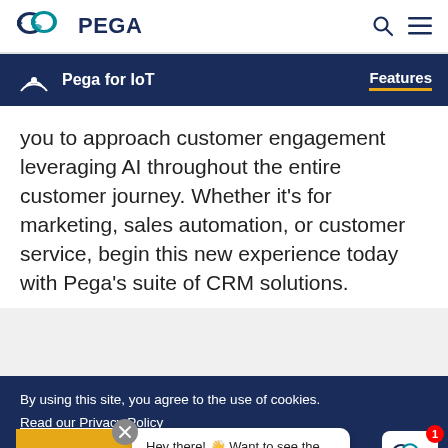PEGA
Pega for IoT — Features
you to approach customer engagement leveraging AI throughout the entire customer journey. Whether it's for marketing, sales automation, or customer service, begin this new experience today with Pega's suite of CRM solutions.
By using this site, you agree to the use of cookies. Read our Privacy Policy
Hey there! 👋 Want to see the Pega Platform in action?